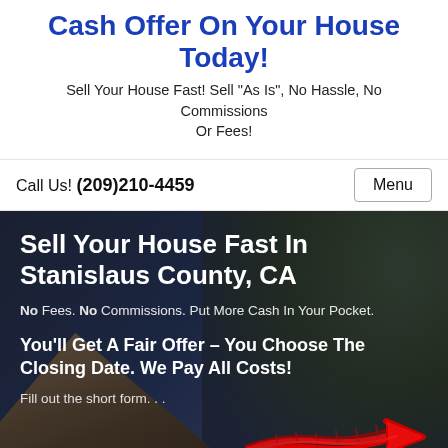Cash Offer On Your House Today!
Sell Your House Fast! Sell "As Is", No Hassle, No Commissions Or Fees!
Call Us! (209)210-4459
Sell Your House Fast In Stanislaus County, CA
No Fees. No Commissions. Put More Cash In Your Pocket.
You’ll Get A Fair Offer – You Choose The Closing Date. We Pay All Costs!
Fill out the short form…
[Figure (illustration): Red hand-drawn arrow pointing to the right, overlaid on a dark hero image of a house with trees]